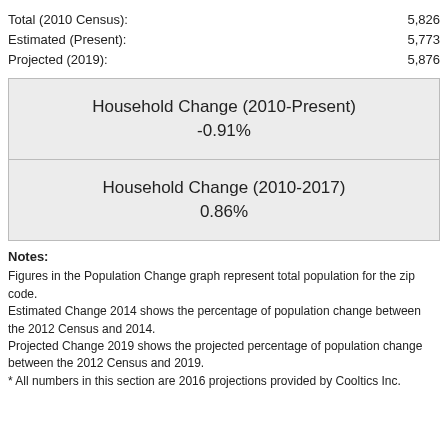Total (2010 Census): 5,826
Estimated (Present): 5,773
Projected (2019): 5,876
| Household Change (2010-Present) | -0.91% |
| Household Change (2010-2017) | 0.86% |
Notes:
Figures in the Population Change graph represent total population for the zip code.
Estimated Change 2014 shows the percentage of population change between the 2012 Census and 2014.
Projected Change 2019 shows the projected percentage of population change between the 2012 Census and 2019.
* All numbers in this section are 2016 projections provided by Cooltics Inc.